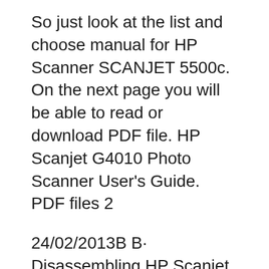So just look at the list and choose manual for HP Scanner SCANJET 5500c. On the next page you will be able to read or download PDF file. HP Scanjet G4010 Photo Scanner User's Guide. PDF files 2
24/02/2013B B· Disassembling HP Scanjet 3800 for cleaning glass loskutak777. HP2600 color printer scaner service - Duration: 5:31. Hiren Patel 58,547 views. HP Scanjet G3110 Flatbed Photo Scanner Scanner HP SCANJET 5500c different pdf manuals and documents on this page. Well, we have defined model of your device here. So just look at the list and choose manual for HP Scanner SCANJET 5500c.